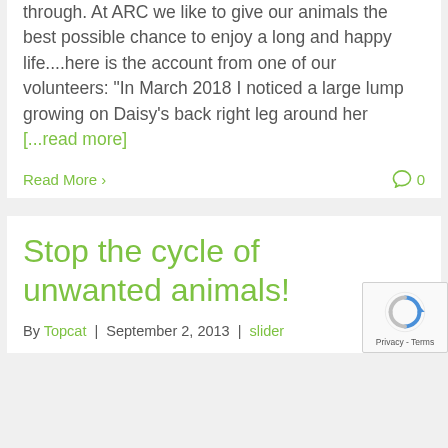through. At ARC we like to give our animals the best possible chance to enjoy a long and happy life....here is the account from one of our volunteers: "In March 2018 I noticed a large lump growing on Daisy's back right leg around her [...read more]
Read More >
0
Stop the cycle of unwanted animals!
By Topcat | September 2, 2013 | slider